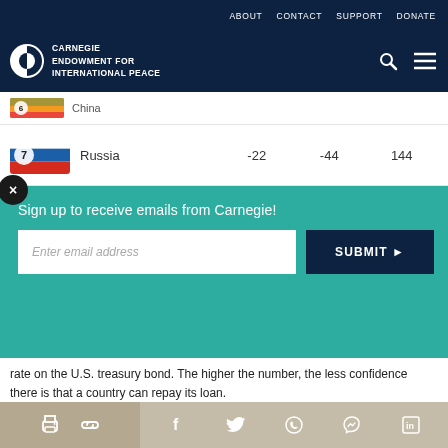ABOUT  CONTACT  SUPPORT  DONATE
[Figure (logo): Carnegie Endowment for International Peace logo with circle icon, search icon, and hamburger menu]
| Rank | Country | Col1 | Col2 | Col3 |
| --- | --- | --- | --- | --- |
| 6 | China |  |  |  |
| 7 | Russia | -22 | -44 | 144 |
[Figure (screenshot): Teal email signup overlay with close button, text 'Sign up to receive emails from Carnegie!', email input field, and dark blue SUBMIT button]
rate on the U.S. treasury bond. The higher the number, the less confidence there is that a country can repay its loan.
Social sharing bar: print, link, Facebook, Twitter, WhatsApp, Messenger, LinkedIn